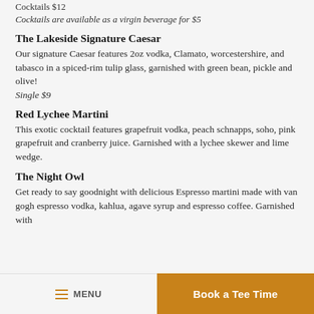Cocktails $12
Cocktails are available as a virgin beverage for $5
The Lakeside Signature Caesar
Our signature Caesar features 2oz vodka, Clamato, worcestershire, and tabasco in a spiced-rim tulip glass, garnished with green bean, pickle and olive! Single $9
Red Lychee Martini
This exotic cocktail features grapefruit vodka, peach schnapps, soho, pink grapefruit and cranberry juice. Garnished with a lychee skewer and lime wedge.
The Night Owl
Get ready to say goodnight with delicious Espresso martini made with van gogh espresso vodka, kahlua, agave syrup and espresso coffee. Garnished with
MENU   Book a Tee Time